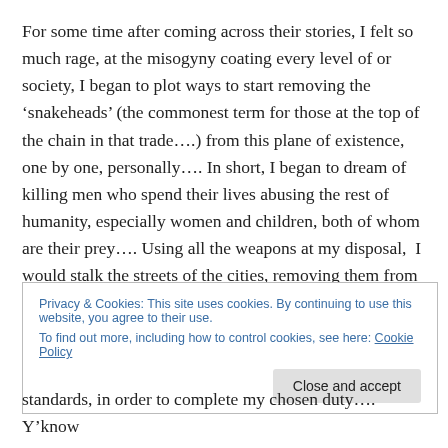For some time after coming across their stories, I felt so much rage, at the misogyny coating every level of or society, I began to plot ways to start removing the 'snakeheads' (the commonest term for those at the top of the chain in that trade….) from this plane of existence, one by one, personally…. In short, I began to dream of killing men who spend their lives abusing the rest of humanity, especially women and children, both of whom are their prey…. Using all the weapons at my disposal,  I would stalk the streets of the cities, removing them from life, until
Privacy & Cookies: This site uses cookies. By continuing to use this website, you agree to their use.
To find out more, including how to control cookies, see here: Cookie Policy
standards, in order to complete my chosen duty…. Y'know